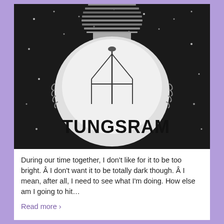[Figure (illustration): Black and white illustration of a light bulb with the word TUNGSRAM written inside the bulb globe. The bulb has visible filament structure and a screw base with horizontal ridges at the top. The background is dark with small white dots resembling stars.]
During our time together, I don't like for it to be too bright. Â I don't want it to be totally dark though. Â I mean, after all, I need to see what I'm doing. How else am I going to hit…
Read more ›